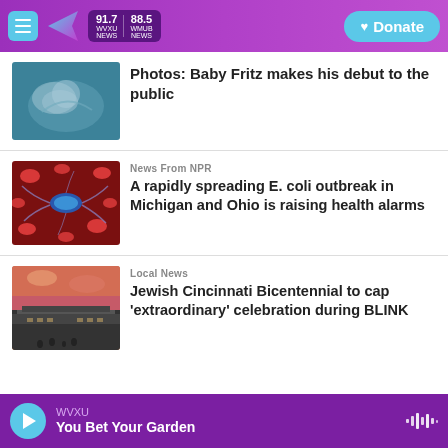WVXU 91.7 NEWS / 88.5 WMUB NEWS — Donate
[Figure (photo): Underwater photo of a manatee]
Photos: Baby Fritz makes his debut to the public
[Figure (photo): Microscopic illustration of E. coli bacteria with red blood cells]
News From NPR
A rapidly spreading E. coli outbreak in Michigan and Ohio is raising health alarms
[Figure (photo): Architecture photo of a modern building at sunset]
Local News
Jewish Cincinnati Bicentennial to cap 'extraordinary' celebration during BLINK
WVXU — You Bet Your Garden